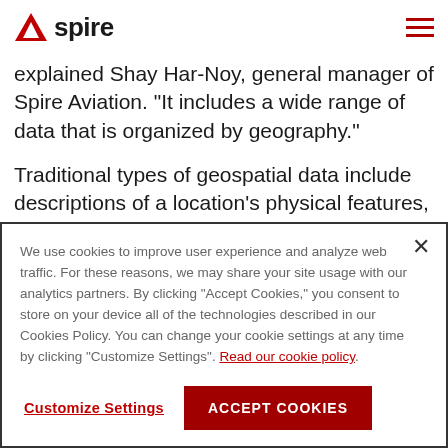spire
explained Shay Har-Noy, general manager of Spire Aviation. "It includes a wide range of data that is organized by geography."
Traditional types of geospatial data include descriptions of a location's physical features, like land
We use cookies to improve user experience and analyze web traffic. For these reasons, we may share your site usage with our analytics partners. By clicking "Accept Cookies," you consent to store on your device all of the technologies described in our Cookies Policy. You can change your cookie settings at any time by clicking "Customize Settings". Read our cookie policy.
Customize Settings
ACCEPT COOKIES